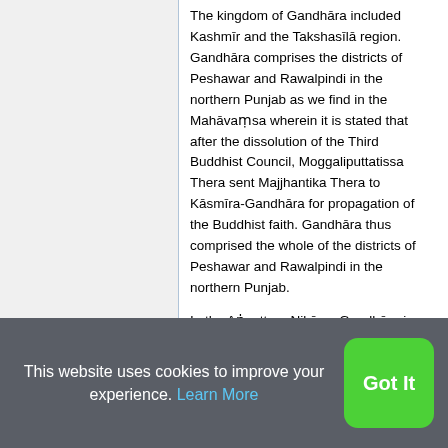The kingdom of Gandhāra included Kashmīr and the Takshasīlā region. Gandhāra comprises the districts of Peshawar and Rawalpindi in the northern Punjab as we find in the Mahāvaṃsa wherein it is stated that after the dissolution of the Third Buddhist Council, Moggaliputtatissa Thera sent Majjhantika Thera to Kāsmīra-Gandhāra for propagation of the Buddhist faith. Gandhāra thus comprised the whole of the districts of Peshawar and Rawalpindi in the northern Punjab.

In the Aṅguttara Nikāya, Gandhāra is included in the list of the sixteen
This website uses cookies to improve your experience. Learn More